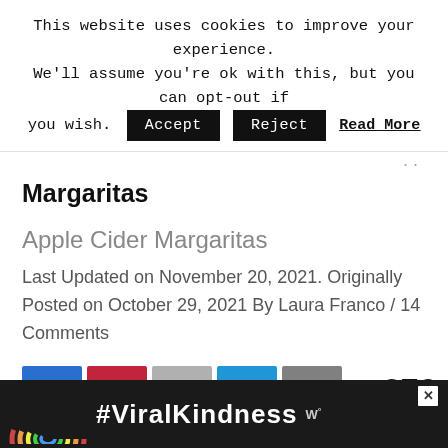This website uses cookies to improve your experience. We'll assume you're ok with this, but you can opt-out if you wish. Accept Reject Read More
Margaritas
Apple Cider Margaritas
Last Updated on November 20, 2021. Originally Posted on October 29, 2021 By Laura Franco / 14 Comments
[Figure (infographic): Social share bar with Facebook, Pinterest, Email, Messenger, SMS buttons and 276 SHARES count]
[Figure (photo): Advertisement banner with rainbow illustration and #ViralKindness hashtag text on dark background, with close X button]